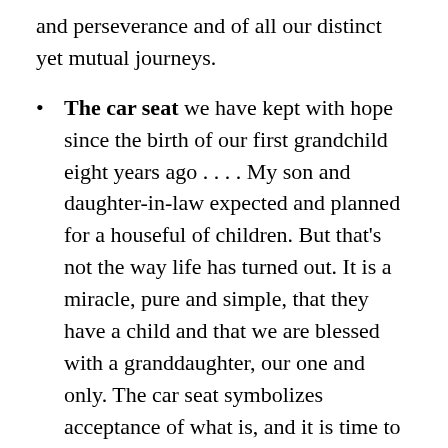and perseverance and of all our distinct yet mutual journeys.
The car seat we have kept with hope since the birth of our first grandchild eight years ago . . . . My son and daughter-in-law expected and planned for a houseful of children.  But that’s not the way life has turned out.  It is a miracle, pure and simple, that they have a child and that we are blessed with a granddaughter, our one and only.  The car seat symbolizes acceptance of what is, and it is time to give it to someone else.
And so many other items and objects that are